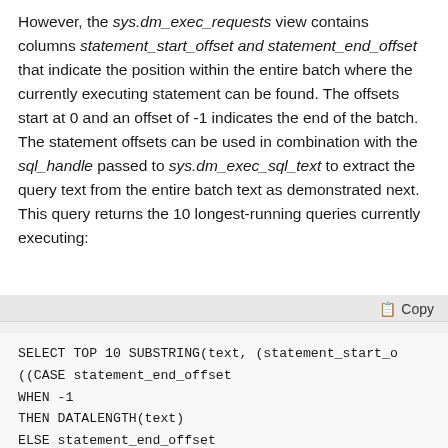However, the sys.dm_exec_requests view contains columns statement_start_offset and statement_end_offset that indicate the position within the entire batch where the currently executing statement can be found. The offsets start at 0 and an offset of -1 indicates the end of the batch. The statement offsets can be used in combination with the sql_handle passed to sys.dm_exec_sql_text to extract the query text from the entire batch text as demonstrated next. This query returns the 10 longest-running queries currently executing:
[Figure (screenshot): Code block showing SQL query with Copy button in header. Code: SELECT TOP 10 SUBSTRING(text, (statement_start_offset... ((CASE statement_end_offset WHEN -1 THEN DATALENGTH(text) ELSE statement_end_offset END - statement_start_offset)/2) + 1) AS query_t FROM sys.dm_exec_requests]